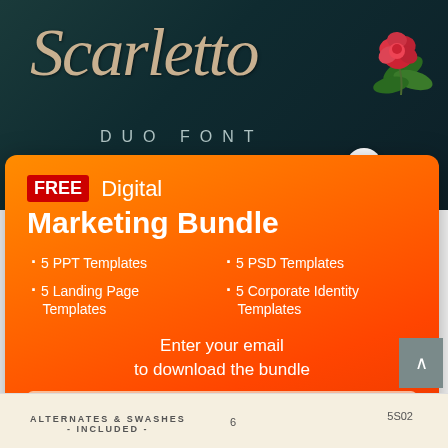[Figure (screenshot): Dark teal background with 'Scarletto' in large cursive/script beige font, 'DUO FONT' in spaced sans-serif letters below, and a red rose with green leaves in the upper right corner]
[Figure (screenshot): Orange gradient popup modal with close (X) button, showing FREE Digital Marketing Bundle offer with bullet points for PPT templates, PSD templates, Landing Page templates, Corporate Identity templates, email input field, and Get Bundle button]
[Figure (screenshot): Bottom strip showing 'ALTERNATES & SWASHES - INCLUDED -' text and '5S02' code on a light beige background]